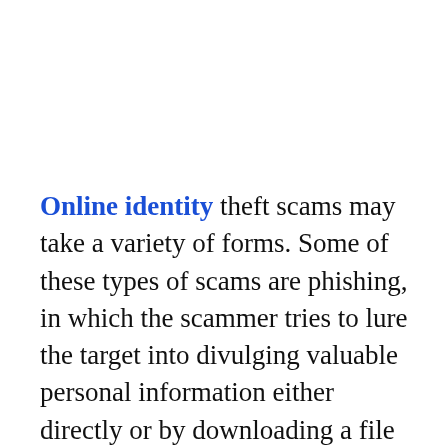Online identity theft scams may take a variety of forms. Some of these types of scams are phishing, in which the scammer tries to lure the target into divulging valuable personal information either directly or by downloading a file that is actually malware made to steal passwords, account numbers, etc. Spoofed websites — impersonations of authentic websites that encourage typing in usernames and passwords or downloading files — are anable to the scam and Other